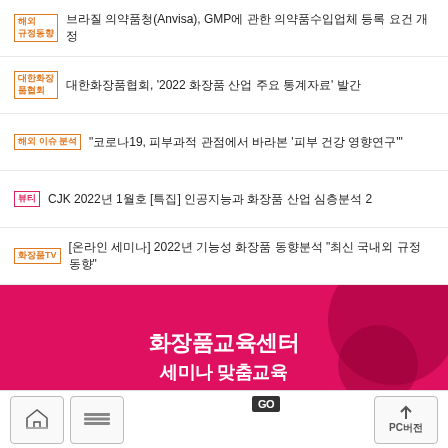[해외 규정동향] 브라질 의약품청(Anvisa), GMP에 관한 의약품수입업체 등록 요건 개정
대한화장품협회, '2022 화장품 산업 주요 통계자료' 발간
해외 이슈 분석 "코로나19, 피부과적 관점에서 바라본 '피부 건강 영향연구'"
뷰티 CJK 2022년 1월호 [특집] 인공지능과 화장품 산업 심층분석 2
화장품TV [온라인 세미나] 2022년 기능성 화장품 동향분석 "최신 국내외 규정 동향"
[Figure (illustration): Pink banner advertisement for 화장품교육센터 (Cosmetics Education Center) with text 세미나 맞춤교육 신청하기 GO and decorative circles]
[Figure (other): Footer navigation bar with home button, menu button on left and PC button with up arrow on right]